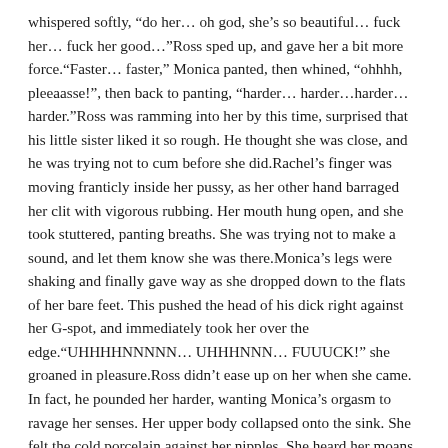whispered softly, “do her… oh god, she’s so beautiful… fuck her… fuck her good…”Ross sped up, and gave her a bit more force.“Faster… faster,” Monica panted, then whined, “ohhhh, pleeaasse!”, then back to panting, “harder… harder…harder…harder.”Ross was ramming into her by this time, surprised that his little sister liked it so rough. He thought she was close, and he was trying not to cum before she did.Rachel’s finger was moving franticly inside her pussy, as her other hand barraged her clit with vigorous rubbing. Her mouth hung open, and she took stuttered, panting breaths. She was trying not to make a sound, and let them know she was there.Monica’s legs were shaking and finally gave way as she dropped down to the flats of her bare feet. This pushed the head of his dick right against her G-spot, and immediately took her over the edge.“UHHHHNNNNN… UHHHNNN… FUUUCK!” she groaned in pleasure.Ross didn’t ease up on her when she came. In fact, he pounded her harder, wanting Monica’s orgasm to ravage her senses. Her upper body collapsed onto the sink. She felt the cold porcelain against her nipples. She heard her moans reverberate around the hard